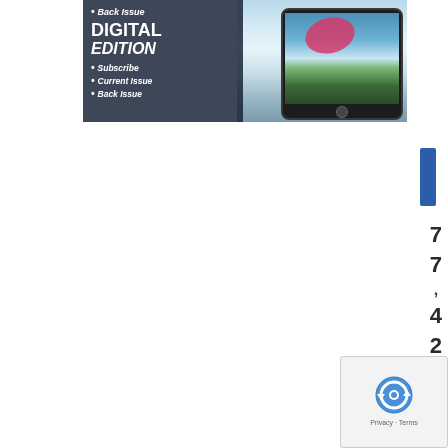[Figure (illustration): Magazine advertisement showing a dark panel on the left with 'Back Issue', 'DIGITAL EDITION' header, bullet points for Subscribe, Current Issue, Back Issue, and on the right a tablet/iPad displaying a kayaking magazine cover with whitewater rapids in the background.]
7 7 , 4 2 0 L i
[Figure (other): reCAPTCHA widget showing the reCAPTCHA logo (circular arrows icon) with Privacy and Terms links below]